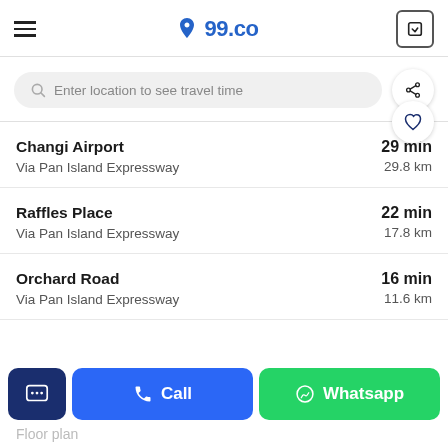99.co
Enter location to see travel time
Changi Airport | 29 min | Via Pan Island Expressway | 29.8 km
Raffles Place | 22 min | Via Pan Island Expressway | 17.8 km
Orchard Road | 16 min | Via Pan Island Expressway | 11.6 km
Call | Whatsapp
Floor plan